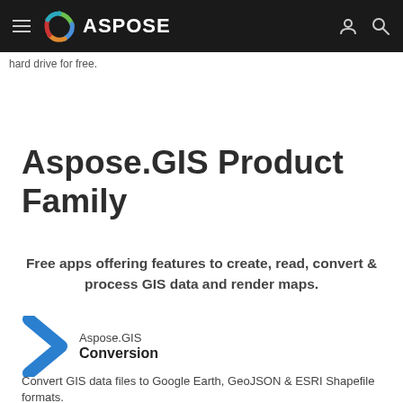ASPOSE
hard drive for free.
Aspose.GIS Product Family
Free apps offering features to create, read, convert & process GIS data and render maps.
Aspose.GIS Conversion
Convert GIS data files to Google Earth, GeoJSON & ESRI Shapefile formats.